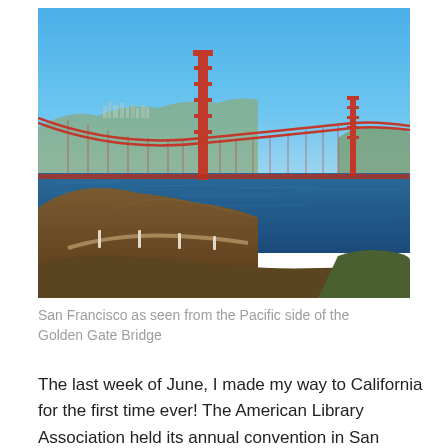[Figure (photo): Aerial/scenic photo of the Golden Gate Bridge and San Francisco Bay as seen from the Pacific side (Marin Headlands). The bridge's red towers are prominent, with the San Francisco skyline in the background across blue water. In the foreground are brown hillside slopes and a pathway with bollards.]
San Francisco as seen from the Pacific side of the Golden Gate Bridge
The last week of June, I made my way to California for the first time ever! The American Library Association held its annual convention in San Francisco this year, and I was thrilled to be invited to several functions by various groups. Since I left North Carolina when temps were over one